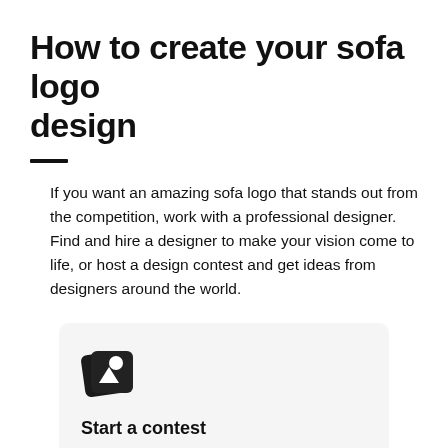How to create your sofa logo design
If you want an amazing sofa logo that stands out from the competition, work with a professional designer. Find and hire a designer to make your vision come to life, or host a design contest and get ideas from designers around the world.
[Figure (logo): Icon showing stacked design/photo cards with a triangle and circle symbol]
Start a contest
Designers from around the world pitch you ideas. You